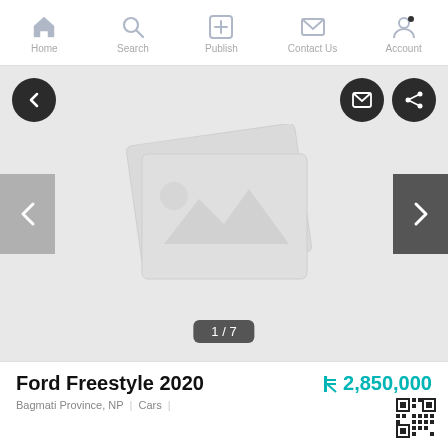Home  Search  Publish  Contact Us  Account
[Figure (screenshot): Mobile app listing page showing a placeholder image carousel with prev/next arrows, back button, share and message buttons, image counter showing 1/7]
Ford Freestyle 2020
₨2,850,000
Bagmati Province, NP  |  Cars  |